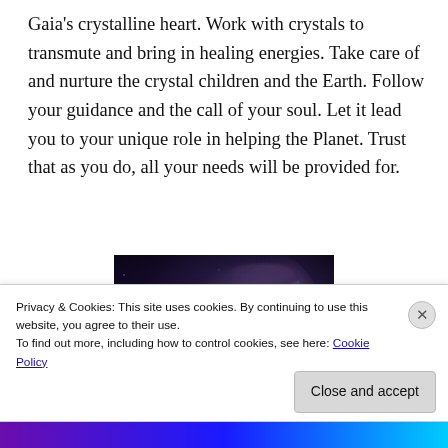Gaia's crystalline heart. Work with crystals to transmute and bring in healing energies. Take care of and nurture the crystal children and the Earth. Follow your guidance and the call of your soul. Let it lead you to your unique role in helping the Planet. Trust that as you do, all your needs will be provided for.
[Figure (photo): Dark fantasy digital art showing a woman's face merged with a black cat, both with glowing purple eyes, set against a dark mystical background.]
Privacy & Cookies: This site uses cookies. By continuing to use this website, you agree to their use.
To find out more, including how to control cookies, see here: Cookie Policy
Close and accept